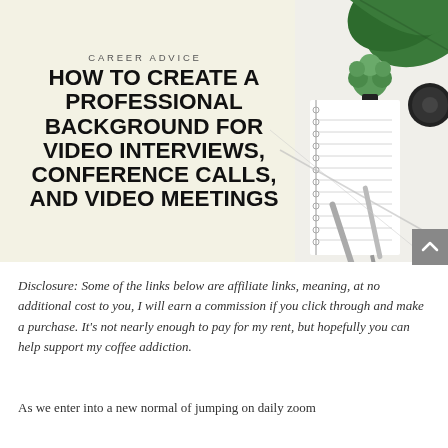[Figure (photo): Hero image with light cream/beige background on left side showing career advice title text, and right side showing a flat-lay of office items including a notebook with lines, two pens/pencils, a succulent plant, and a dark lens cap on a white surface with a large tropical leaf visible in the top right corner.]
CAREER ADVICE
HOW TO CREATE A PROFESSIONAL BACKGROUND FOR VIDEO INTERVIEWS, CONFERENCE CALLS, AND VIDEO MEETINGS
Disclosure: Some of the links below are affiliate links, meaning, at no additional cost to you, I will earn a commission if you click through and make a purchase. It's not nearly enough to pay for my rent, but hopefully you can help support my coffee addiction.
As we enter into a new normal of jumping on daily zoom calls, be sure to look for a few easy steps you can take to make